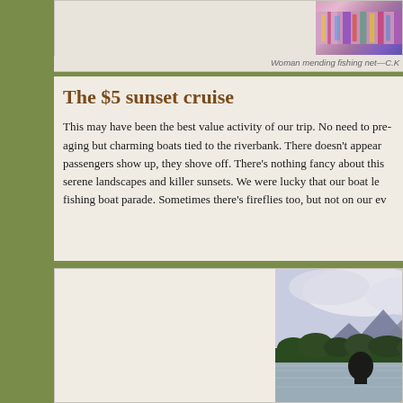[Figure (photo): Woman mending fishing net, colorful outfit, partially visible at top of page]
Woman mending fishing net—C.K
The $5 sunset cruise
This may have been the best value activity of our trip. No need to pre-aging but charming boats tied to the riverbank. There doesn't appear passengers show up, they shove off. There's nothing fancy about this serene landscapes and killer sunsets. We were lucky that our boat le fishing boat parade. Sometimes there's fireflies too, but not on our ev
[Figure (photo): Sunset river cruise scene with mountains in background, person silhouetted in foreground, clouds and treeline visible]